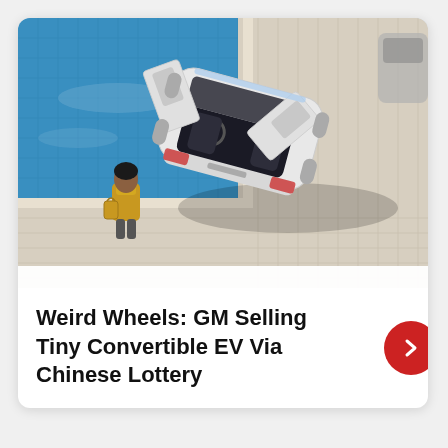[Figure (photo): Aerial/overhead view of a white small convertible electric vehicle with its roof off and doors open, parked on a tiled patio area next to a blue swimming pool. A person wearing a gold/yellow jacket stands near the car.]
Weird Wheels: GM Selling Tiny Convertible EV Via Chinese Lottery